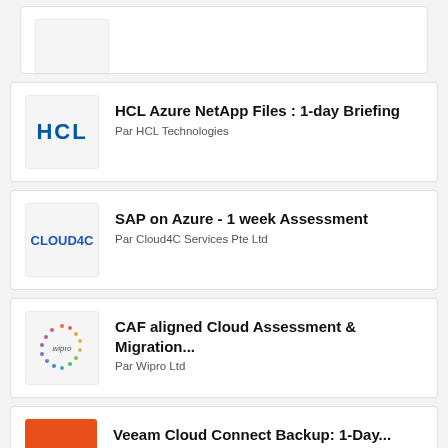[Figure (logo): Partial card at top, logo partially visible]
[Figure (logo): HCL Technologies logo - blue bold letters HCL]
HCL Azure NetApp Files : 1-day Briefing
Par HCL Technologies
[Figure (logo): Cloud4C Services logo - blue text CLOUD4C]
SAP on Azure - 1 week Assessment
Par Cloud4C Services Pte Ltd
[Figure (logo): Wipro Ltd logo - circular dot pattern with wipro text]
CAF aligned Cloud Assessment & Migration...
Par Wipro Ltd
[Figure (logo): PEAKUP logo - white text on orange background]
Veeam Cloud Connect Backup: 1-Day...
Par PEAKUP